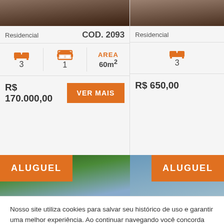[Figure (photo): Property listing card left - photo of dirt road]
Residencial
COD. 2093
3
1
AREA 60m²
R$ 170.000,00
VER MAIS
[Figure (photo): Property listing card right - partial view]
Residencial
3
R$ 650,00
[Figure (photo): ALUGUEL property photo with trees]
ALUGUEL
ALUGUEL
Nosso site utiliza cookies para salvar seu histórico de uso e garantir uma melhor experiência. Ao continuar navegando você concorda com a nossa política de cookies e privacidade.
OK